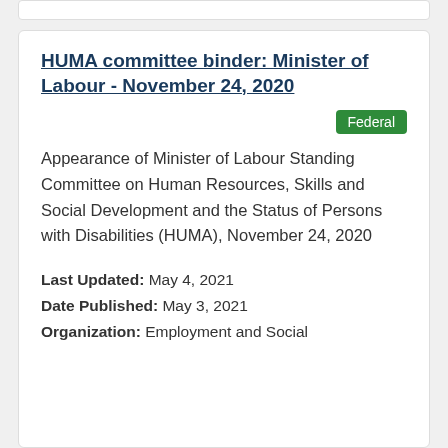HUMA committee binder: Minister of Labour - November 24, 2020
Federal
Appearance of Minister of Labour Standing Committee on Human Resources, Skills and Social Development and the Status of Persons with Disabilities (HUMA), November 24, 2020
Last Updated: May 4, 2021
Date Published: May 3, 2021
Organization: Employment and Social